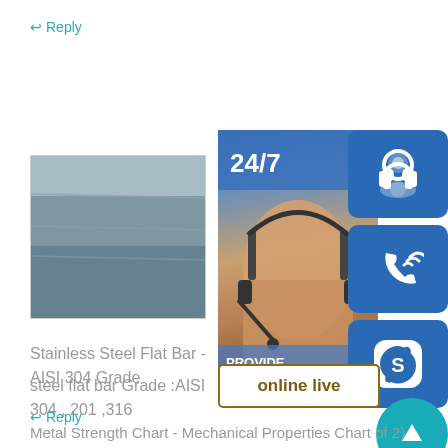↩ Reply
[Figure (photo): Photo of stainless steel flat bar sheets stacked]
Stainless Steel Flat Bar - AISI 304 Grade
steel flat bar Grade :AISI 304 , 201 ,316
↩ Reply
[Figure (photo): Photo of metal sheets stacked in a warehouse]
[Figure (infographic): 24/7 online customer service widget with headset icon, phone icon, Skype icon, and online live button]
Metal Strength Chart - Mechanical Properties Chart of 2)